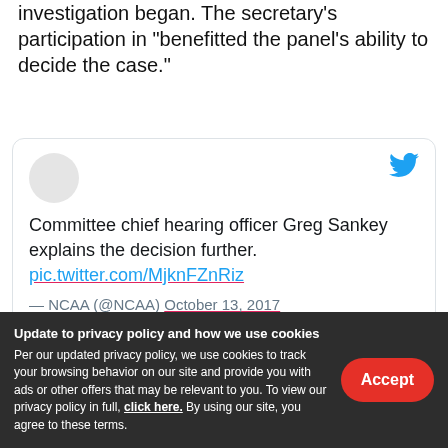investigation began. The secretary's participation in "benefitted the panel's ability to decide the case."
[Figure (screenshot): Embedded tweet from @NCAA dated October 13, 2017. Text: 'Committee chief hearing officer Greg Sankey explains the decision further. pic.twitter.com/MjknFZnRiz — NCAA (@NCAA) October 13, 2017']
"The panel noted that its ability to determine whether
Update to privacy policy and how we use cookies
Per our updated privacy policy, we use cookies to track your browsing behavior on our site and provide you with ads or other offers that may be relevant to you. To view our privacy policy in full, click here. By using our site, you agree to these terms.